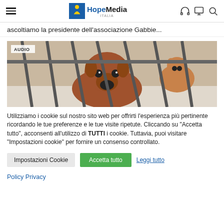HopeMedia Italia
ascoltiamo la presidente dell'associazione Gabbie...
[Figure (photo): Dogs behind cage bars in a shelter, with an AUDIO badge overlay]
Utilizziamo i cookie sul nostro sito web per offrirti l'esperienza più pertinente ricordando le tue preferenze e le tue visite ripetute. Cliccando su "Accetta tutto", acconsenti all'utilizzo di TUTTI i cookie. Tuttavia, puoi visitare "Impostazioni cookie" per fornire un consenso controllato.
Impostazioni Cookie  Accetta tutto  Leggi tutto
Policy Privacy